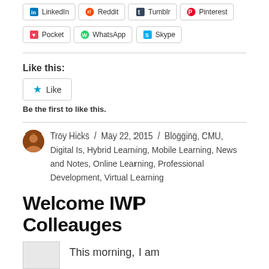LinkedIn
Reddit
Tumblr
Pinterest
Pocket
WhatsApp
Skype
Like this:
Be the first to like this.
Troy Hicks / May 22, 2015 / Blogging, CMU, Digital Is, Hybrid Learning, Mobile Learning, News and Notes, Online Learning, Professional Development, Virtual Learning
Welcome IWP Colleauges
This morning, I am